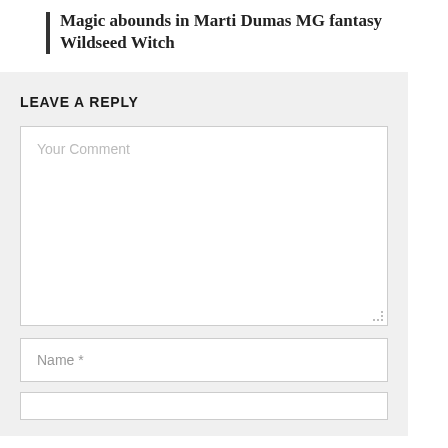Magic abounds in Marti Dumas MG fantasy Wildseed Witch
LEAVE A REPLY
Your Comment
Name *